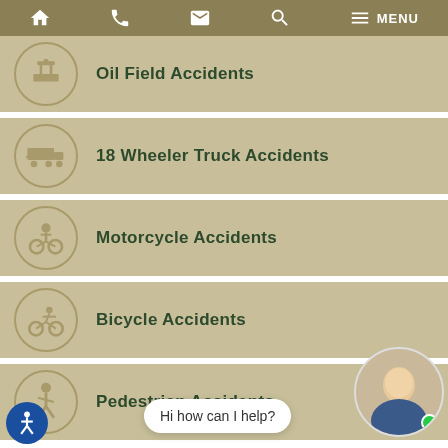MENU
Oil Field Accidents
18 Wheeler Truck Accidents
Motorcycle Accidents
Bicycle Accidents
Pedestrian Accidents
WHAT OUR CLIENTS ARE SAYING A
Hi how can I help?
[Figure (photo): Circular avatar photo of a man in a suit with a green online indicator dot]